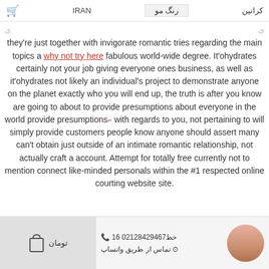🛒  IRAN  رنگ مو  کرانین
they're just together with invigorate romantic tries regarding the main topics a why not try here fabulous world-wide degree. It'ohydrates certainly not your job giving everyone ones business, as well as it'ohydrates not likely an individual's project to demonstrate anyone on the planet exactly who you will end up, the truth is after you know are going to about to provide presumptions about everyone in the world provide presumptions with regards to you, not pertaining to will simply provide customers people know anyone should assert many can't obtain just outside of an intimate romantic relationship, not actually craft a account. Attempt for totally free currently not to mention connect like-minded personals within the #1 respected online courting website site.
[Figure (screenshot): Footer bar with shopping bag icon, Toman label, phone number 02128429467 with خط16, WhatsApp contact option in Persian, and avatar photo of a woman]